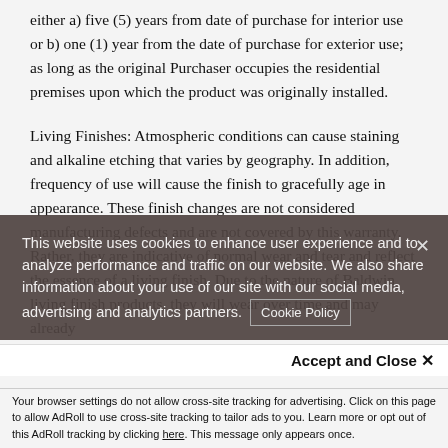either a) five (5) years from date of purchase for interior use or b) one (1) year from the date of purchase for exterior use; as long as the original Purchaser occupies the residential premises upon which the product was originally installed.
Living Finishes: Atmospheric conditions can cause staining and alkaline etching that varies by geography. In addition, frequency of use will cause the finish to gracefully age in appearance. These finish changes are not considered manufacturing defects and are not covered by this warranty. Rather, they are indicative of normal wear and tear and reflect the essence of a living finish. Due to the nature of Baldwin living finish products, they will wear over time and may already
This website uses cookies to enhance user experience and to analyze performance and traffic on our website. We also share information about your use of our site with our social media, advertising and analytics partners. Cookie Policy
Accept and Close ✕
Your browser settings do not allow cross-site tracking for advertising. Click on this page to allow AdRoll to use cross-site tracking to tailor ads to you. Learn more or opt out of this AdRoll tracking by clicking here. This message only appears once.